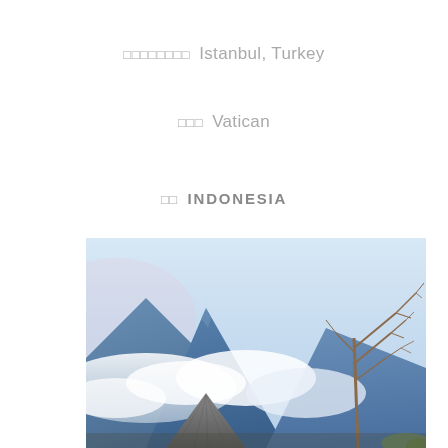□□□□□□□□ Istanbul, Turkey
□□□ Vatican
□□ INDONESIA
[Figure (photo): Landscape photo of volcanic mountains in Indonesia (Mount Bromo area), with blue-toned mountains rising above clouds, a bare dead tree in the foreground right, and a smaller volcanic crater cone in the lower center.]